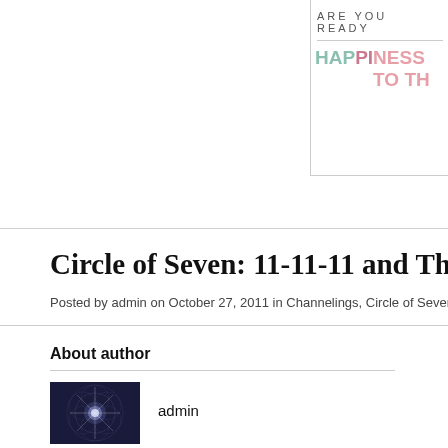[Figure (screenshot): Partial banner with text 'ARE YOU READY' and 'HAPPINESS TO TH' in teal and salmon/pink colors]
Circle of Seven: 11-11-11 and Thos
Posted by admin on October 27, 2011 in Channelings, Circle of Seven · 0 Comments
About author
[Figure (photo): Circular geometric/sacred geometry image with light burst in center on dark background]
admin
Share this article
Tweet this
Digg it